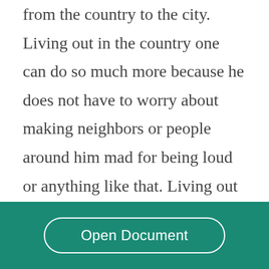from the country to the city. Living out in the country one can do so much more because he does not have to worry about making neighbors or people around him mad for being loud or anything like that. Living out in the country a person can hunt, go mud running, ride quads, and have bonfire parties. In the city one cannot really do any of that because he does not have the room and have to have consideration for all people and houses around him. If people live in the city they usually
Open Document